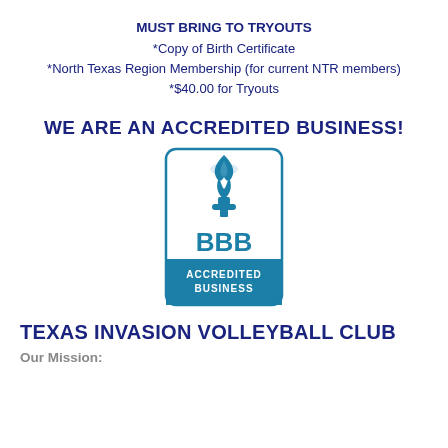MUST BRING TO TRYOUTS
*Copy of Birth Certificate
*North Texas Region Membership (for current NTR members)
*$40.00 for Tryouts
WE ARE AN ACCREDITED BUSINESS!
[Figure (logo): BBB Accredited Business logo — blue torch flame over BBB letters with 'ACCREDITED BUSINESS' banner at bottom]
TEXAS INVASION VOLLEYBALL CLUB
Our Mission: